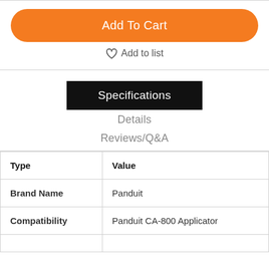Add To Cart
♡ Add to list
Specifications
Details
Reviews/Q&A
| Type | Value |
| --- | --- |
| Brand Name | Panduit |
| Compatibility | Panduit CA-800 Applicator |